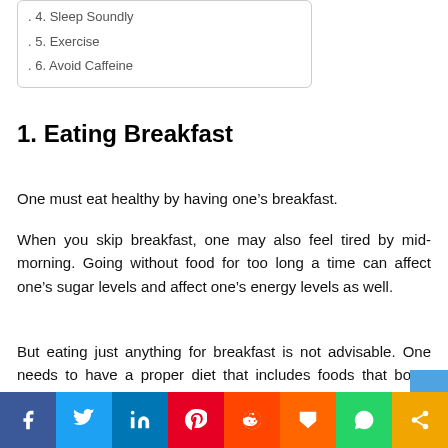. 4. Sleep Soundly
. 5. Exercise
. 6. Avoid Caffeine
1. Eating Breakfast
One must eat healthy by having one’s breakfast.
When you skip breakfast, one may also feel tired by mid-morning. Going without food for too long a time can affect one’s sugar levels and affect one’s energy levels as well.
But eating just anything for breakfast is not advisable. One needs to have a proper diet that includes foods that boost one’s metabolism and also give one’s body energy to burn.